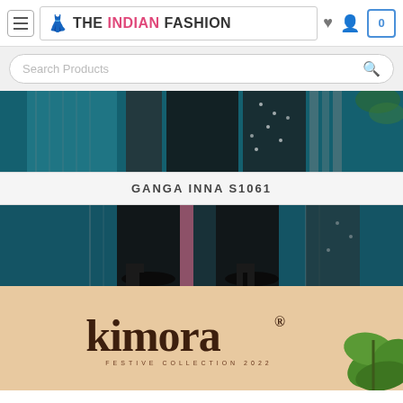THE INDIAN FASHION — navigation bar with hamburger menu, logo, search icon, user icon, cart (0)
[Figure (screenshot): Search bar with placeholder text 'Search Products' and a magnifying glass icon]
[Figure (photo): Top portion of a model wearing a black and white patterned Indian ethnic outfit (salwar kameez) with dupatta on a teal/blue background]
GANGA INNA S1061
[Figure (photo): Lower portion of a model wearing the same Indian ethnic outfit — black trousers visible with heeled black shoes on a teal/blue fabric background]
[Figure (logo): Kimora brand banner — peach/beige background with bold serif 'kimora®' logo text and tagline 'FESTIVE COLLECTION 2022', with a green leaf plant on the right side]